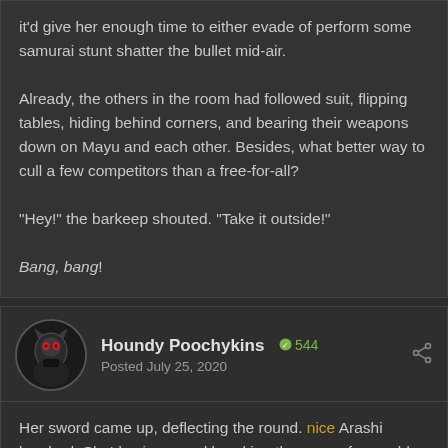it'd give her enough time to either evade of perform some samurai stunt shatter the bullet mid-air.

Already, the others in the room had followed suit, flipping tables, hiding behind corners, and bearing their weapons down on Mayu and each other. Besides, what better way to cull a few competitors than a free-for-all?

"Hey!" the barkeep shouted. "Take it outside!"

Bang, bang!
Houndy Poochykins — 544 — Posted July 25, 2020
Her sword came up, deflecting the round. nice Arashi laughed. She'd spin around breaking the nose of a would be attacker with her elbow. Following, her again scabbarded sword spun, cracking nearby assaulters in the face. one, Crack! two, Crack! three, Crack! and Four, men when down. Before hearing them say to take it outside, She'd kick a chair at the window and dive out only